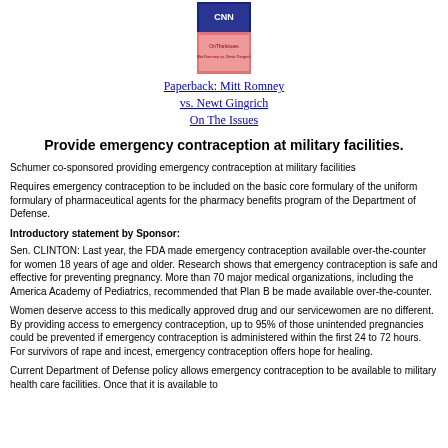[Figure (photo): Book cover image for 'Mitt Romney vs. Newt Gingrich On The Issues']
Paperback: Mitt Romney vs. Newt Gingrich On The Issues
Provide emergency contraception at military facilities.
Schumer co-sponsored providing emergency contraception at military facilities
Requires emergency contraception to be included on the basic core formulary of the uniform formulary of pharmaceutical agents for the pharmacy benefits program of the Department of Defense.
Introductory statement by Sponsor:
Sen. CLINTON: Last year, the FDA made emergency contraception available over-the-counter for women 18 years of age and older. Research shows that emergency contraception is safe and effective for preventing pregnancy. More than 70 major medical organizations, including the America Academy of Pediatrics, recommended that Plan B be made available over-the-counter.
Women deserve access to this medically approved drug and our servicewomen are no different. By providing access to emergency contraception, up to 95% of those unintended pregnancies could be prevented if emergency contraception is administered within the first 24 to 72 hours. For survivors of rape and incest, emergency contraception offers hope for healing.
Current Department of Defense policy allows emergency contraception to be available to military health care facilities. Once that it is available to